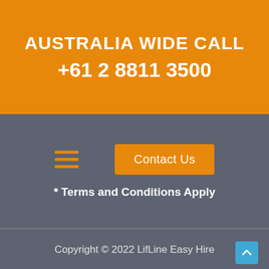AUSTRALIA WIDE CALL
+61 2 8811 3500
[Figure (other): Hamburger menu icon (three orange horizontal lines)]
Contact Us
* Terms and Conditions Apply
Copyright © 2022 LifLine Easy Hire